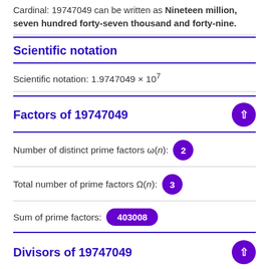Cardinal: 19747049 can be written as Nineteen million, seven hundred forty-seven thousand and forty-nine.
Scientific notation
Scientific notation: 1.9747049 × 10^7
Factors of 19747049
Number of distinct prime factors ω(n): 2
Total number of prime factors Ω(n): 3
Sum of prime factors: 403008
Divisors of 19747049